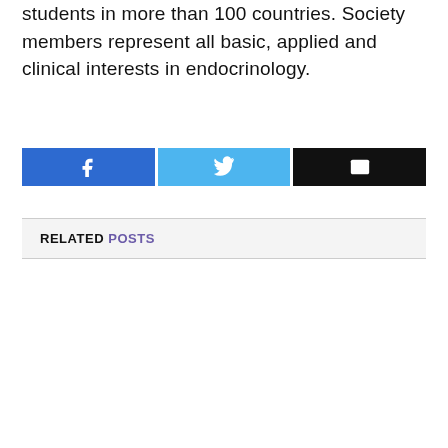students in more than 100 countries. Society members represent all basic, applied and clinical interests in endocrinology.
[Figure (other): Social sharing buttons: Facebook (blue), Twitter (light blue), Email (black)]
RELATED POSTS